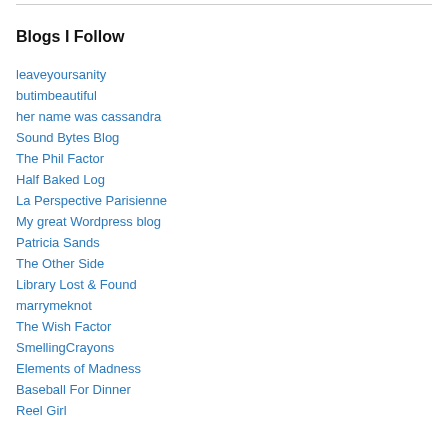Blogs I Follow
leaveyoursanity
butimbeautiful
her name was cassandra
Sound Bytes Blog
The Phil Factor
Half Baked Log
La Perspective Parisienne
My great Wordpress blog
Patricia Sands
The Other Side
Library Lost & Found
marrymeknot
The Wish Factor
SmellingCrayons
Elements of Madness
Baseball For Dinner
Reel Girl